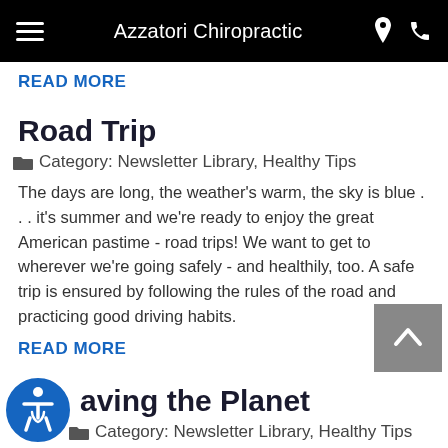Azzatori Chiropractic
READ MORE
Road Trip
Category: Newsletter Library, Healthy Tips
The days are long, the weather's warm, the sky is blue . . . it's summer and we're ready to enjoy the great American pastime - road trips! We want to get to wherever we're going safely - and healthily, too. A safe trip is ensured by following the rules of the road and practicing good driving habits.
READ MORE
aving the Planet
Category: Newsletter Library, Healthy Tips